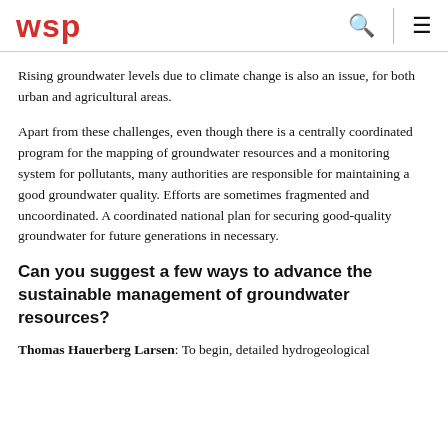wsp
Rising groundwater levels due to climate change is also an issue, for both urban and agricultural areas.
Apart from these challenges, even though there is a centrally coordinated program for the mapping of groundwater resources and a monitoring system for pollutants, many authorities are responsible for maintaining a good groundwater quality. Efforts are sometimes fragmented and uncoordinated. A coordinated national plan for securing good-quality groundwater for future generations in necessary.
Can you suggest a few ways to advance the sustainable management of groundwater resources?
Thomas Hauerberg Larsen: To begin, detailed hydrogeological